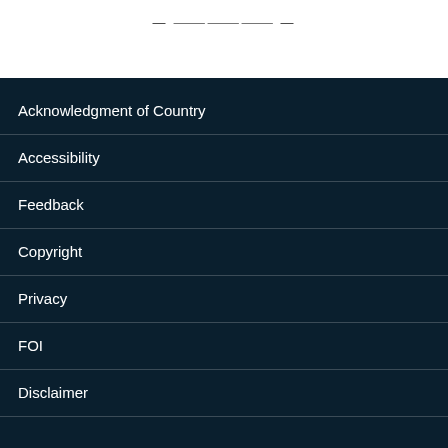[Figure (logo): Government logo or wordmark at top of page, partially visible]
Acknowledgment of Country
Accessibility
Feedback
Copyright
Privacy
FOI
Disclaimer